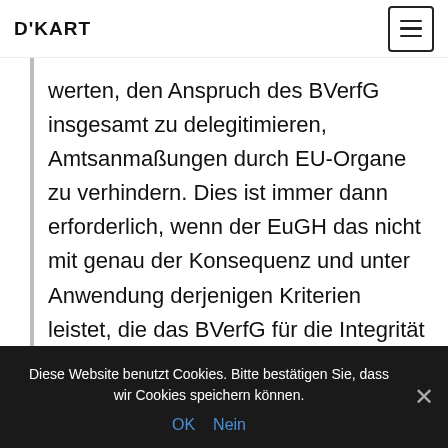D'KART
werten, den Anspruch des BVerfG insgesamt zu delegitimieren, Amtsanmaßungen durch EU-Organe zu verhindern. Dies ist immer dann erforderlich, wenn der EuGH das nicht mit genau der Konsequenz und unter Anwendung derjenigen Kriterien leistet, die das BVerfG für die Integrität des GG als notwendig erachtet.
Diese Website benutzt Cookies. Bitte bestätigen Sie, dass wir Cookies speichern können.
OK  Nein